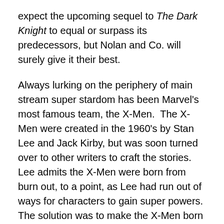expect the upcoming sequel to The Dark Knight to equal or surpass its predecessors, but Nolan and Co. will surely give it their best.
Always lurking on the periphery of main stream super stardom has been Marvel's most famous team, the X-Men. The X-Men were created in the 1960's by Stan Lee and Jack Kirby, but was soon turned over to other writers to craft the stories. Lee admits the X-Men were born from burn out, to a point, as Lee had run out of ways for characters to gain super powers. The solution was to make the X-Men born with super powers as a result of a genetic mutation. To make things a little more interesting, their leader was placed in a wheel chair and made the most powerful mutant in the world. The back drop ended up being civil rights, where mutants were considered to be